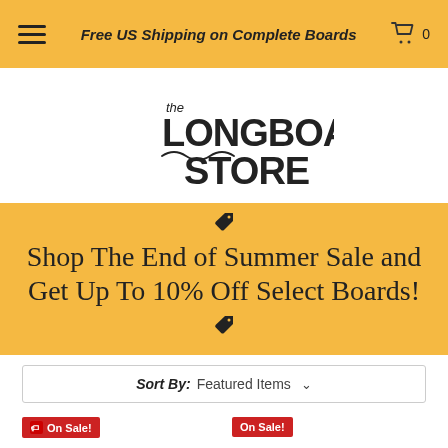Free US Shipping on Complete Boards
[Figure (logo): The Longboard Store logo — hand-drawn style text reading 'the LONGBOARD STORE' with mountain/wave decorative elements]
Shop The End of Summer Sale and Get Up To 10% Off Select Boards!
Sort By: Featured Items
[Figure (screenshot): Two product thumbnails each with a red 'On Sale!' badge, partially visible at the bottom of the page]